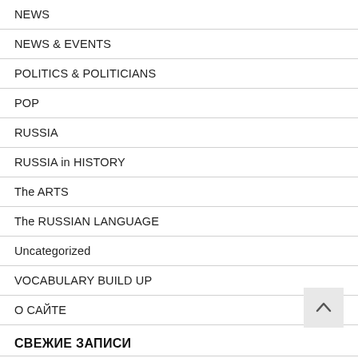NEWS
NEWS & EVENTS
POLITICS & POLITICIANS
POP
RUSSIA
RUSSIA in HISTORY
The ARTS
The RUSSIAN LANGUAGE
Uncategorized
VOCABULARY BUILD UP
О САЙТЕ
СВЕЖИЕ ЗАПИСИ
HURRICANE IDA